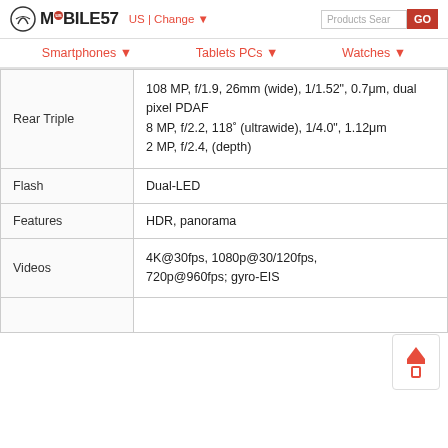MOBILE57 US | Change  Products Search GO
Smartphones ▼   Tablets PCs ▼   Watches ▼
|  |  |
| --- | --- |
| Rear Triple | 108 MP, f/1.9, 26mm (wide), 1/1.52", 0.7μm, dual pixel PDAF
8 MP, f/2.2, 118° (ultrawide), 1/4.0", 1.12μm
2 MP, f/2.4, (depth) |
| Flash | Dual-LED |
| Features | HDR, panorama |
| Videos | 4K@30fps, 1080p@30/120fps, 720p@960fps; gyro-EIS |
|  |  |